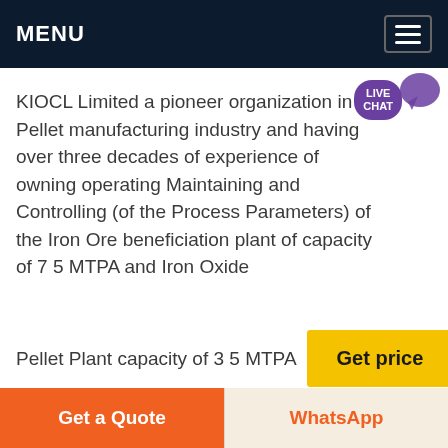MENU
KIOCL Limited a pioneer organization in the Pellet manufacturing industry and having over three decades of experience of owning operating Maintaining and Controlling (of the Process Parameters) of the Iron Ore beneficiation plant of capacity of 7 5 MTPA and Iron Oxide
Pellet Plant capacity of 3 5 MTPA
[Figure (photo): Aerial/landscape photo of a mining or industrial plant facility surrounded by forested green hills]
Get a Quote
WhatsApp